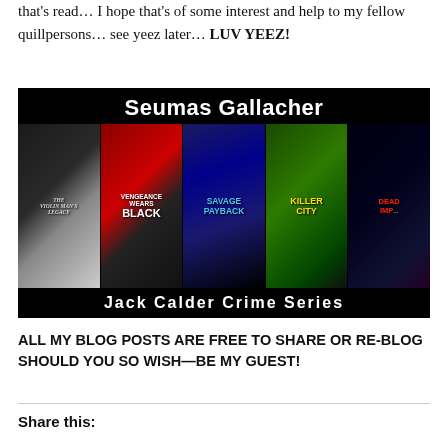that's read… I hope that's of some interest and help to my fellow quillpersons… see yeez later… LUV YEEZ!
[Figure (illustration): Seumas Gallacher Jack Calder Crime Series banner showing 5 book covers: The Violin Man's Legacy, Vengeance Wears Black, Savage Payback, Killer City, Deadly Imp[ulse]]
ALL MY BLOG POSTS ARE FREE TO SHARE OR RE-BLOG SHOULD YOU SO WISH—BE MY GUEST!
Share this: